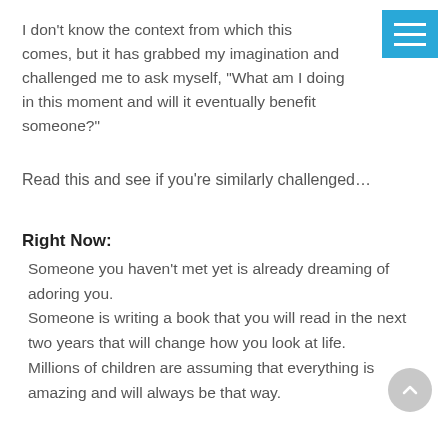I don't know the context from which this comes, but it has grabbed my imagination and challenged me to ask myself, "What am I doing in this moment and will it eventually benefit someone?"
Read this and see if you're similarly challenged…
Right Now:
Someone you haven't met yet is already dreaming of adoring you.
Someone is writing a book that you will read in the next two years that will change how you look at life.
Millions of children are assuming that everything is amazing and will always be that way.